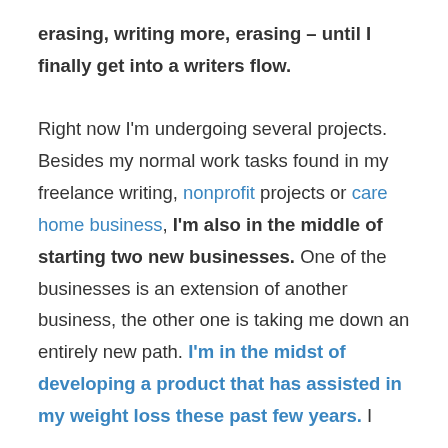erasing, writing more, erasing – until I finally get into a writers flow.

Right now I'm undergoing several projects. Besides my normal work tasks found in my freelance writing, nonprofit projects or care home business, I'm also in the middle of starting two new businesses. One of the businesses is an extension of another business, the other one is taking me down an entirely new path. I'm in the midst of developing a product that has assisted in my weight loss these past few years. I